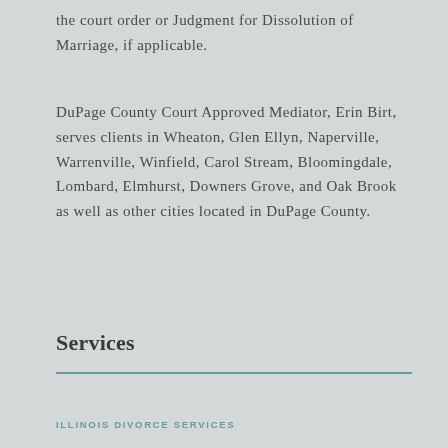the court order or Judgment for Dissolution of Marriage, if applicable.
DuPage County Court Approved Mediator, Erin Birt, serves clients in Wheaton, Glen Ellyn, Naperville, Warrenville, Winfield, Carol Stream, Bloomingdale, Lombard, Elmhurst, Downers Grove, and Oak Brook as well as other cities located in DuPage County.
Services
ILLINOIS DIVORCE SERVICES